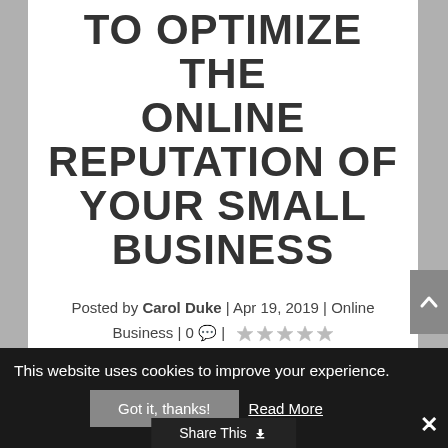TO OPTIMIZE THE ONLINE REPUTATION OF YOUR SMALL BUSINESS
Posted by Carol Duke | Apr 19, 2019 | Online Business | 0 💬 | ★☆☆☆☆
This website uses cookies to improve your experience.
Got it, thanks!  Read More
Share This